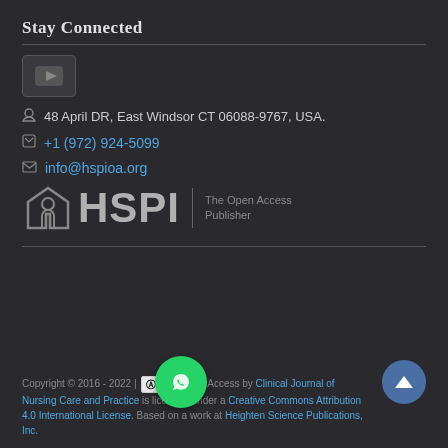Stay Connected
[Figure (logo): YouTube icon button in a rounded rectangle box]
📍 48 April DR, East Windsor CT 06088-9767, USA.
📞 +1 (972) 924-5099
✉ info@hspioa.org
[Figure (logo): HSPI logo with house/shield icon and text 'HSPI | The Open Access Publisher']
Copyright © 2016 - 2022 | [CC BY] Open Access by Clinical Journal of Nursing Care and Practice is licensed under a Creative Commons Attribution 4.0 International License. Based on a work at Heighten Science Publications, Inc.